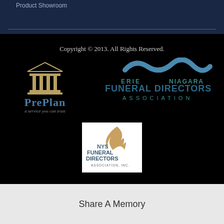Product Showroom
Copyright © 2013. All Rights Reserved.
[Figure (logo): PrePlan logo with pillared building icon and tagline 'a service you can trust']
[Figure (logo): Erie Niagara Funeral Directors Association logo with wave graphic]
[Figure (logo): NYS Funeral Directors Association Inc. logo with flame icon]
Share A Memory